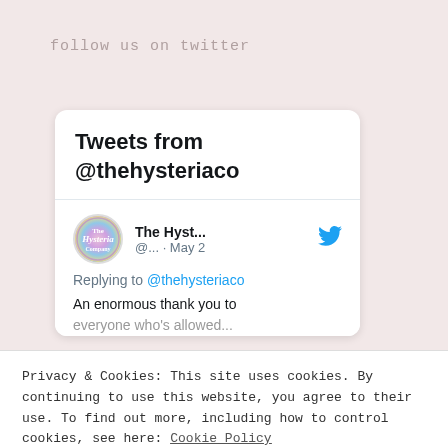follow us on twitter
[Figure (screenshot): Twitter widget card showing 'Tweets from @thehysteriaco' with a tweet from The Hyst... @... · May 2, replying to @thehysteriaco: 'An enormous thank you to everyone who's allowed...']
Privacy & Cookies: This site uses cookies. By continuing to use this website, you agree to their use. To find out more, including how to control cookies, see here: Cookie Policy
Close and accept
Enter your email address